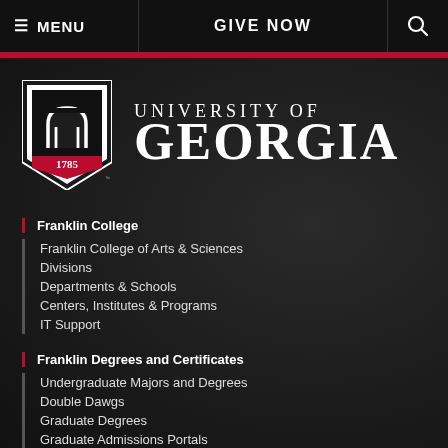≡ MENU | GIVE NOW | 🔍
[Figure (logo): University of Georgia shield logo with arch and 1785, next to text UNIVERSITY OF GEORGIA]
Franklin College
Franklin College of Arts & Sciences
Divisions
Departments & Schools
Centers, Institutes & Programs
IT Support
Franklin Degrees and Certificates
Undergraduate Majors and Degrees
Double Dawgs
Graduate Degrees
Graduate Admissions Portals
Experiential Learning